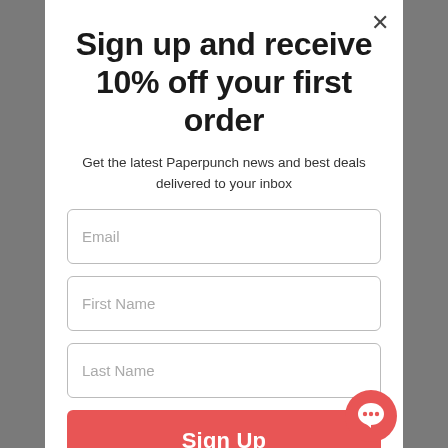Sign up and receive 10% off your first order
Get the latest Paperpunch news and best deals delivered to your inbox
[Figure (screenshot): Email input field placeholder]
[Figure (screenshot): First Name input field placeholder]
[Figure (screenshot): Last Name input field placeholder]
Sign Up